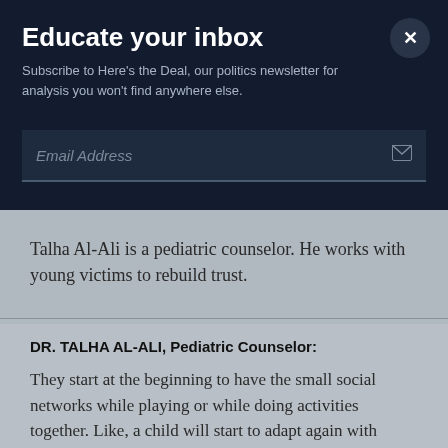Educate your inbox
Subscribe to Here's the Deal, our politics newsletter for analysis you won't find anywhere else.
Email Address
Talha Al-Ali is a pediatric counselor. He works with young victims to rebuild trust.
DR. TALHA AL-ALI, Pediatric Counselor:
They start at the beginning to have the small social networks while playing or while doing activities together. Like, a child will start to adapt again with building